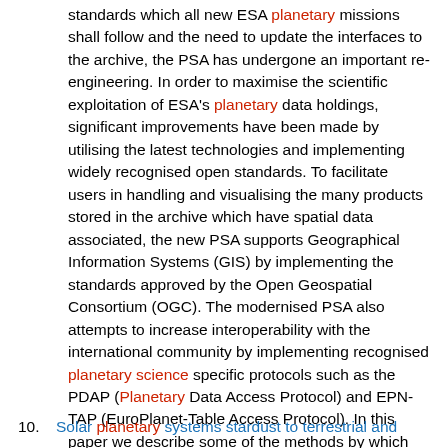standards which all new ESA planetary missions shall follow and the need to update the interfaces to the archive, the PSA has undergone an important re-engineering. In order to maximise the scientific exploitation of ESA's planetary data holdings, significant improvements have been made by utilising the latest technologies and implementing widely recognised open standards. To facilitate users in handling and visualising the many products stored in the archive which have spatial data associated, the new PSA supports Geographical Information Systems (GIS) by implementing the standards approved by the Open Geospatial Consortium (OGC). The modernised PSA also attempts to increase interoperability with the international community by implementing recognised planetary science specific protocols such as the PDAP (Planetary Data Access Protocol) and EPN-TAP (EuroPlanet-Table Access Protocol). In this paper we describe some of the methods by which the archive may be accessed and present the challenges that are being faced in consolidating data sets of the older PDS3 version of the standards with the new PDS4 deliveries into a single data model mapping to ensure transparent access to the data for users and services whilst maintaining a high performance.
10. Solar planetary systems stardust to terrestrial and